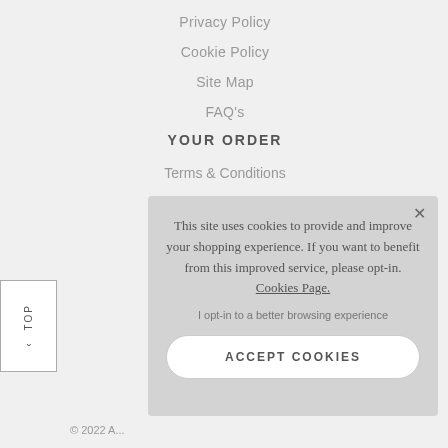Privacy Policy
Cookie Policy
Site Map
FAQ's
YOUR ORDER
Terms & Conditions
This site uses cookies to provide and improve your shopping experience. If you want to benefit from this improved service, please opt-in. Cookies Page.
I opt-in to a better browsing experience
ACCEPT COOKIES
© 2022 A...